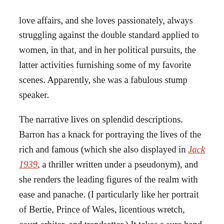love affairs, and she loves passionately, always struggling against the double standard applied to women, in that, and in her political pursuits, the latter activities furnishing some of my favorite scenes. Apparently, she was a fabulous stump speaker.
The narrative lives on splendid descriptions. Barron has a knack for portraying the lives of the rich and famous (which she also displayed in Jack 1939, a thriller written under a pseudonym), and she renders the leading figures of the realm with ease and panache. (I particularly like her portrait of Bertie, Prince of Wales, licentious wretch, court arbiter, and trendsetter.) It takes a sure hand to convey every conceivable setting with accuracy and